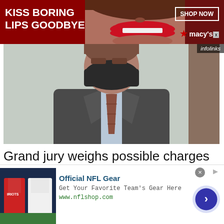[Figure (photo): Red advertisement banner for Macy's lipstick promotion with text 'KISS BORING LIPS GOODBYE', a woman's face with red lips, 'SHOP NOW' button, and Macy's logo with star]
[Figure (photo): Photo of a man wearing a dark suit, light blue shirt, striped tie, and a dark face mask, standing in front of a light-colored wall]
Grand jury weighs possible charges against North Carolina AG
[Figure (photo): Bottom infolinks advertisement for Official NFL Gear showing NFL jerseys, text 'Get Your Favorite Team's Gear Here', URL www.nflshop.com, and a circular arrow button]